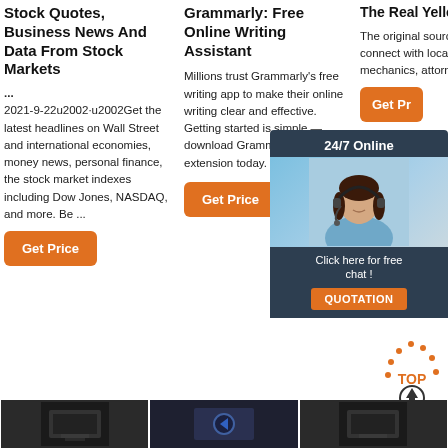Stock Quotes, Business News And Data From Stock Markets
...
2021-9-22u2002·u2002Get the latest headlines on Wall Street and international economies, money news, personal finance, the stock market indexes including Dow Jones, NASDAQ, and more. Be ...
Get Price
Grammarly: Free Online Writing Assistant
Millions trust Grammarly's free writing app to make their online writing clear and effective. Getting started is simple — download Grammarly's extension today.
Get Price
The Real Yellow Pages®
The original source to find and connect with local handymen, mechanics, attorneys, and more
Get Pr...
[Figure (infographic): Chat popup overlay showing a woman with headset, '24/7 Online' label, 'Click here for free chat!' text, and QUOTATION button on dark navy background]
[Figure (infographic): TOP button icon with orange dotted arc and circular arrow pointing up]
[Figure (photo): Bottom strip with three dark/black and white photographic thumbnail images]